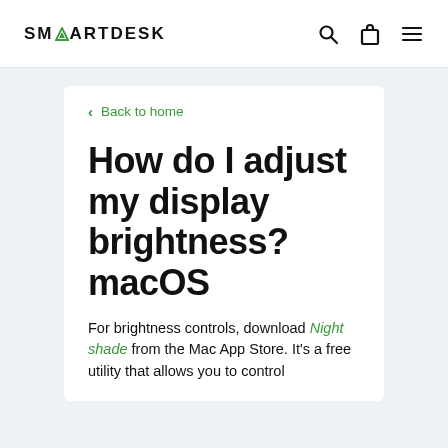SMARTDESK
< Back to home
How do I adjust my display brightness? macOS
For brightness controls, download Night shade from the Mac App Store. It's a free utility that allows you to control